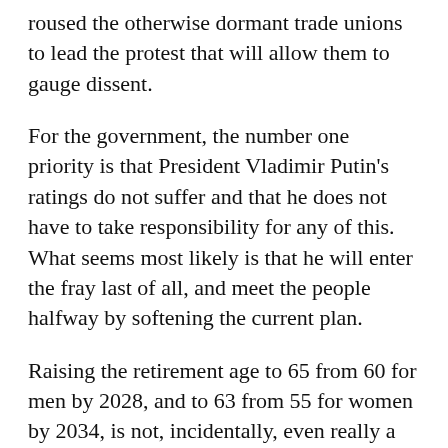roused the otherwise dormant trade unions to lead the protest that will allow them to gauge dissent.
For the government, the number one priority is that President Vladimir Putin's ratings do not suffer and that he does not have to take responsibility for any of this. What seems most likely is that he will enter the fray last of all, and meet the people halfway by softening the current plan.
Raising the retirement age to 65 from 60 for men by 2028, and to 63 from 55 for women by 2034, is not, incidentally, even really a reform. It is merely an attempt to bring pensions in line with the demographic trend of an aging population (not to